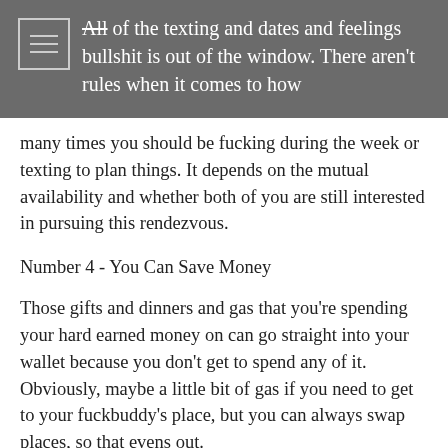All of the texting and dates and feelings bullshit is out of the window. There aren't rules when it comes to how
many times you should be fucking during the week or texting to plan things. It depends on the mutual availability and whether both of you are still interested in pursuing this rendezvous.
Number 4 - You Can Save Money
Those gifts and dinners and gas that you're spending your hard earned money on can go straight into your wallet because you don't get to spend any of it. Obviously, maybe a little bit of gas if you need to get to your fuckbuddy's place, but you can always swap places, so that evens out.
Number 5 - There Is No Effort